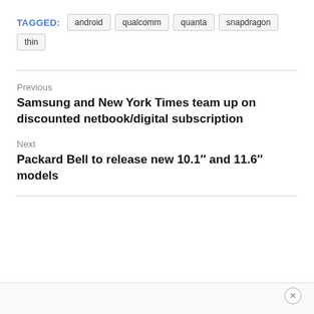TAGGED: android qualcomm quanta snapdragon thin
Previous
Samsung and New York Times team up on discounted netbook/digital subscription
Next
Packard Bell to release new 10.1″ and 11.6″ models